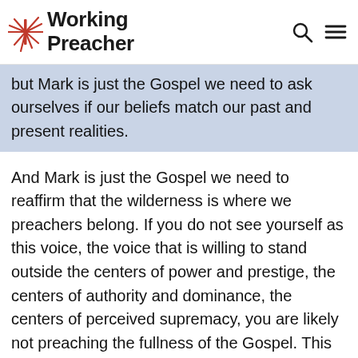Working Preacher
but Mark is just the Gospel we need to ask ourselves if our beliefs match our past and present realities.
And Mark is just the Gospel we need to reaffirm that the wilderness is where we preachers belong. If you do not see yourself as this voice, the voice that is willing to stand outside the centers of power and prestige, the centers of authority and dominance, the centers of perceived supremacy, you are likely not preaching the fullness of the Gospel. This is John the Baptist's challenge. This is Mark's challenge. So, we better get used to preaching from the margins.